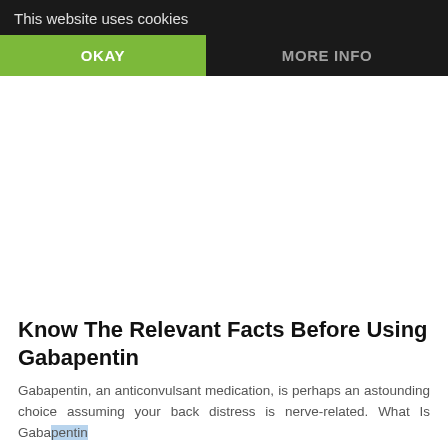This website uses cookies
OKAY
MORE INFO
Know The Relevant Facts Before Using Gabapentin
Gabapentin, an anticonvulsant medication, is perhaps an astounding choice assuming your back distress is nerve-related. What Is Gabapentin